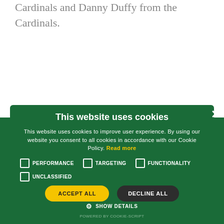Cardinals and Danny Duffy from the Cardinals.
“This program was truly a team effort for
This website uses cookies
This website uses cookies to improve user experience. By using our website you consent to all cookies in accordance with our Cookie Policy. Read more
PERFORMANCE
TARGETING
FUNCTIONALITY
UNCLASSIFIED
ACCEPT ALL
DECLINE ALL
SHOW DETAILS
POWERED BY COOKIE-SCRIPT